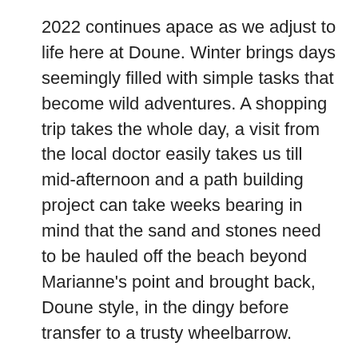2022 continues apace as we adjust to life here at Doune. Winter brings days seemingly filled with simple tasks that become wild adventures. A shopping trip takes the whole day, a visit from the local doctor easily takes us till mid-afternoon and a path building project can take weeks bearing in mind that the sand and stones need to be hauled off the beach beyond Marianne's point and brought back, Doune style, in the dingy before transfer to a trusty wheelbarrow.
We are also busy getting ready for our first season and are so grateful to have Andy and Liz at the top of the path and Martin and Jane at the end of the phone to answer our daily